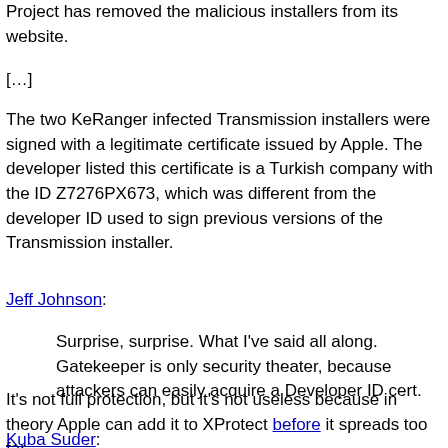Project has removed the malicious installers from its website.
[…]
The two KeRanger infected Transmission installers were signed with a legitimate certificate issued by Apple. The developer listed this certificate is a Turkish company with the ID Z7276PX673, which was different from the developer ID used to sign previous versions of the Transmission installer.
Jeff Johnson:
Surprise, surprise. What I've said all along. Gatekeeper is only security theater, because attackers can easily acquire a Developer ID cert.
It's not full protection, but it's not useless because in theory Apple can add it to XProtect before it spreads too far.
Kuba Suder:
I guess technically Gatekeeper can't detect changed